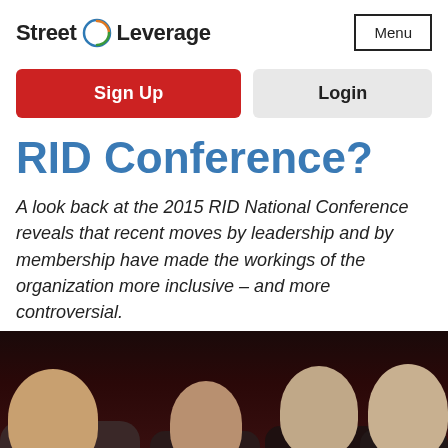Street Leverage | Menu
Sign Up
Login
RID Conference?
A look back at the 2015 RID National Conference reveals that recent moves by leadership and by membership have made the workings of the organization more inclusive – and more controversial.
[Figure (photo): Group photo of smiling people at the 2015 RID National Conference, shown from approximately chest up against a dark red/black background.]